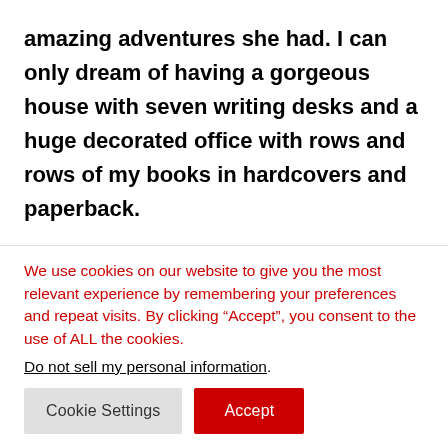amazing adventures she had. I can only dream of having a gorgeous house with seven writing desks and a huge decorated office with rows and rows of my books in hardcovers and paperback.
It's still hard to imagine her being gone, even one week on. and I can only hope they. her
We use cookies on our website to give you the most relevant experience by remembering your preferences and repeat visits. By clicking “Accept”, you consent to the use of ALL the cookies.
Do not sell my personal information.